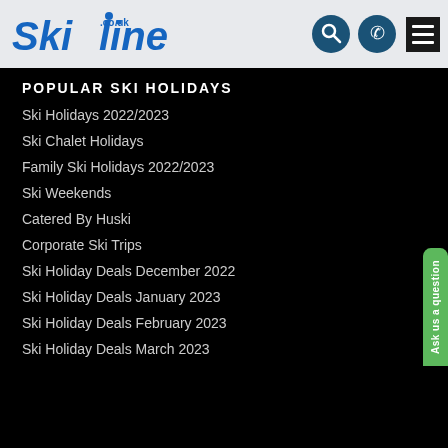[Figure (logo): Skiline.co.uk logo — bold italic blue text with navigation icons and hamburger menu]
POPULAR SKI HOLIDAYS
Ski Holidays 2022/2023
Ski Chalet Holidays
Family Ski Holidays 2022/2023
Ski Weekends
Catered By Huski
Corporate Ski Trips
Ski Holiday Deals December 2022
Ski Holiday Deals January 2023
Ski Holiday Deals February 2023
Ski Holiday Deals March 2023